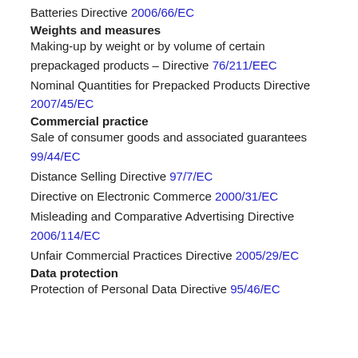Batteries Directive 2006/66/EC
Weights and measures
Making-up by weight or by volume of certain prepackaged products – Directive 76/211/EEC
Nominal Quantities for Prepacked Products Directive 2007/45/EC
Commercial practice
Sale of consumer goods and associated guarantees 99/44/EC
Distance Selling Directive 97/7/EC
Directive on Electronic Commerce 2000/31/EC
Misleading and Comparative Advertising Directive 2006/114/EC
Unfair Commercial Practices Directive 2005/29/EC
Data protection
Protection of Personal Data Directive 95/46/EC